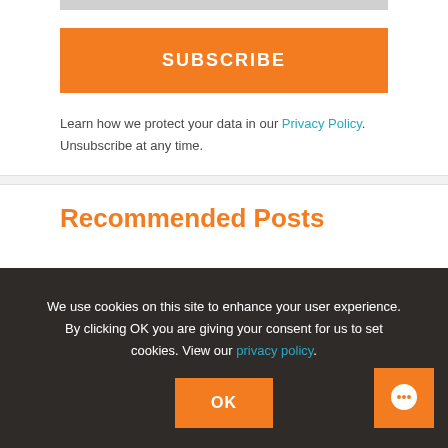[Figure (other): Gray bar at top of page, partially visible subscribe form area]
SUBSCRIBE
Learn how we protect your data in our Privacy Policy. Unsubscribe at any time.
Recommended Posts
We use cookies on this site to enhance your user experience. By clicking OK you are giving your consent for us to set cookies. View our privacy policy.
OK